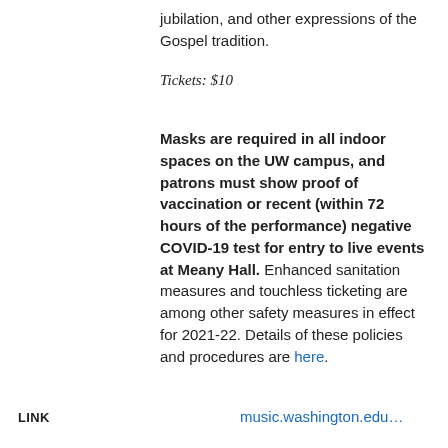jubilation, and other expressions of the Gospel tradition.
Tickets: $10
Masks are required in all indoor spaces on the UW campus, and patrons must show proof of vaccination or recent (within 72 hours of the performance) negative COVID-19 test for entry to live events at Meany Hall. Enhanced sanitation measures and touchless ticketing are among other safety measures in effect for 2021-22. Details of these policies and procedures are here.
LINK   music.washington.edu...